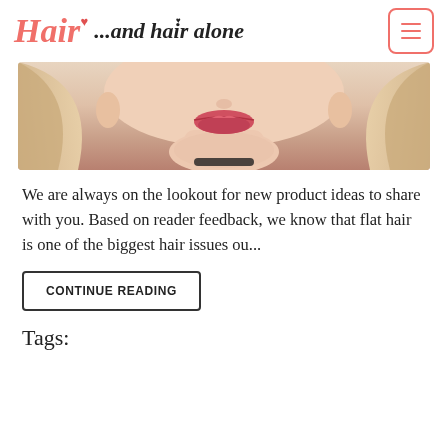Hair ...and hair alone
[Figure (photo): Close-up photo of a woman's lower face showing blonde hair, red lips, and jawline against a light background.]
We are always on the lookout for new product ideas to share with you. Based on reader feedback, we know that flat hair is one of the biggest hair issues ou...
CONTINUE READING
Tags: